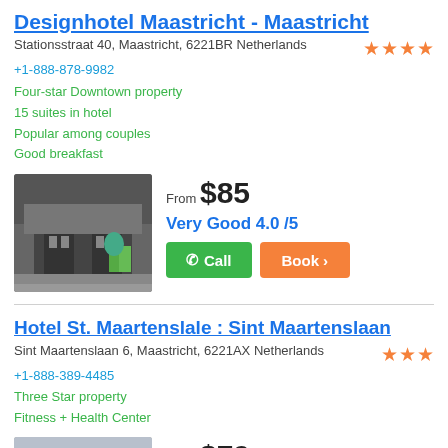Designhotel Maastricht - Maastricht
Stationsstraat 40, Maastricht, 6221BR Netherlands
+1-888-878-9982
Four-star Downtown property
15 suites in hotel
Popular among couples
Good breakfast
[Figure (photo): Exterior photo of Designhotel Maastricht building]
From $85
Very Good 4.0 /5
Call | Book
Hotel St. Maartenslale : Sint Maartenslaan
Sint Maartenslaan 6, Maastricht, 6221AX Netherlands
+1-888-389-4485
Three Star property
Fitness + Health Center
[Figure (photo): Exterior photo of Hotel St. Maartenslale building]
From $79
Very Good 4.0 /5